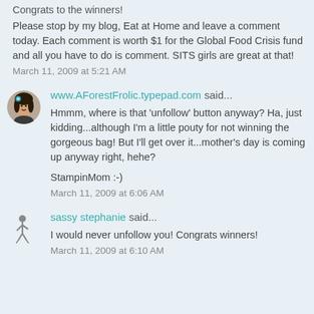Congrats to the winners! Please stop by my blog, Eat at Home and leave a comment today. Each comment is worth $1 for the Global Food Crisis fund and all you have to do is comment. SITS girls are great at that!
March 11, 2009 at 5:21 AM
www.AForestFrolic.typepad.com said...
Hmmm, where is that 'unfollow' button anyway? Ha, just kidding...although I'm a little pouty for not winning the gorgeous bag! But I'll get over it...mother's day is coming up anyway right, hehe?
StampinMom :-)
March 11, 2009 at 6:06 AM
sassy stephanie said...
I would never unfollow you! Congrats winners!
March 11, 2009 at 6:10 AM